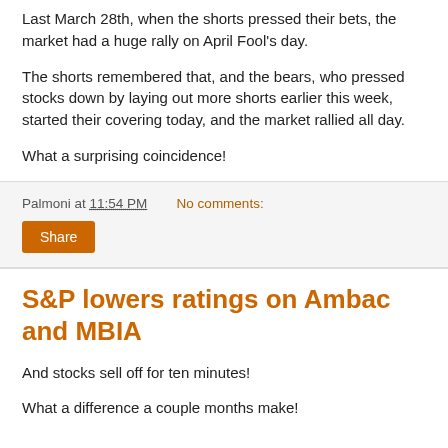Last March 28th, when the shorts pressed their bets, the market had a huge rally on April Fool's day.
The shorts remembered that, and the bears, who pressed stocks down by laying out more shorts earlier this week, started their covering today, and the market rallied all day.
What a surprising coincidence!
Palmoni at 11:54 PM   No comments:
Share
S&P lowers ratings on Ambac and MBIA
And stocks sell off for ten minutes!
What a difference a couple months make!